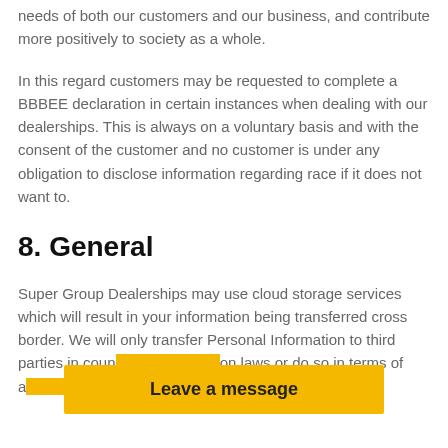needs of both our customers and our business, and contribute more positively to society as a whole.
In this regard customers may be requested to complete a BBBEE declaration in certain instances when dealing with our dealerships. This is always on a voluntary basis and with the consent of the customer and no customer is under any obligation to disclose information regarding race if it does not want to.
8. General
Super Group Dealerships may use cloud storage services which will result in your information being transferred cross border. We will only transfer Personal Information to third parties in coun                        on laws or do so in terms of a                        pient which
[Figure (other): Yellow 'Leave a message' banner overlaying the text at the bottom of the page]